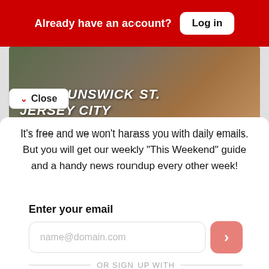Already have an account? Log in
[Figure (photo): Banner photo showing record store with text '109 Brunswick St. Jersey City' and time '12-7 PM']
Close
It's free and we won't harass you with daily emails. But you will get our weekly "This Weekend" guide and a handy news roundup every other week!
Enter your email
name@domain.com
OR SIGN UP WITH